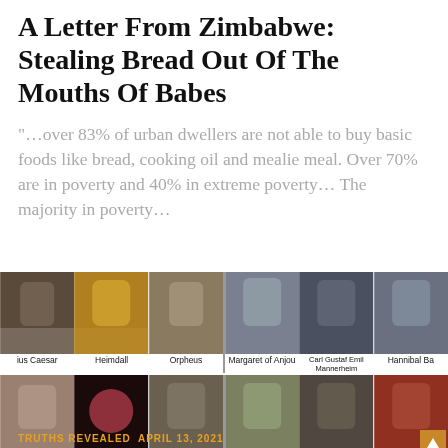A Letter From Zimbabwe: Stealing Bread Out Of The Mouths Of Babes
“…over 83% of urban dwellers are not able to buy basic foods like bread, cooking oil and mealie meal. Over 70% are in poverty and 40% in extreme poverty… The majority in poverty…
[Figure (photo): Grid of 12 photos showing various historical/mythological characters portrayed by Black actors, arranged in 2 rows of 6. Top row: Julius Caesar, Heimdall, Orpheus, Margaret of Anjou, Carl Gustaf Emil Mannerheim, Hannibal Ba[rca]. Bottom row: Achilles, Joan of Arc, Oenomaus, Friar Tuck, Zeus, [partially cropped figure with scroll button overlay].]
TRUTHS REVEALED  APRIL 13, 2021